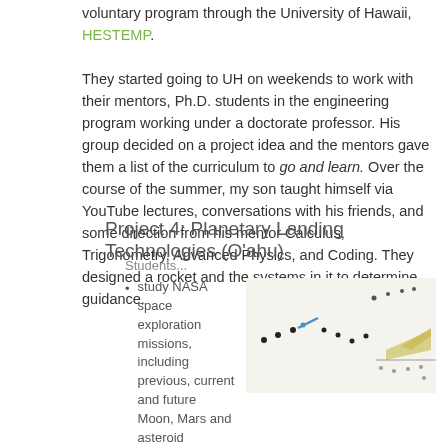voluntary program through the University of Hawaii, HESTEMP. They started going to UH on weekends to work with their mentors, Ph.D. students in the engineering program working under a doctorate professor. His group decided on a project idea and the mentors gave them a list of the curriculum to go and learn. Over the course of the summer, my son taught himself via YouTube lectures, conversations with his friends, and some direction from his mentor Calculus, Trigonometry, Advanced Physics, and Coding. They designed a rocket and the systems in it to determine guidance.
Project 4: Planetary Landing Technologies (O'ahu)
Students...
study NASA space exploration missions, including previous, current and future Moon, Mars and asteroid missions
[Figure (illustration): Illustration of a spacecraft or rocket trajectory showing dots and an angled landing sequence against a light background]
study entry, descent and landing technologies (EDL)
explore and analyze various landing maneuver sequences and